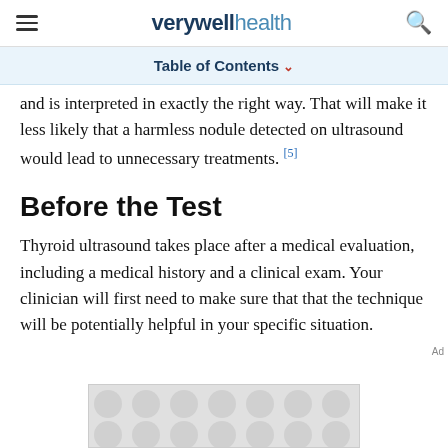verywell health
Table of Contents
and is interpreted in exactly the right way. That will make it less likely that a harmless nodule detected on ultrasound would lead to unnecessary treatments. [5]
Before the Test
Thyroid ultrasound takes place after a medical evaluation, including a medical history and a clinical exam. Your clinician will first need to make sure that that the technique will be potentially helpful in your specific situation.
[Figure (other): Advertisement placeholder with repeating dot pattern]